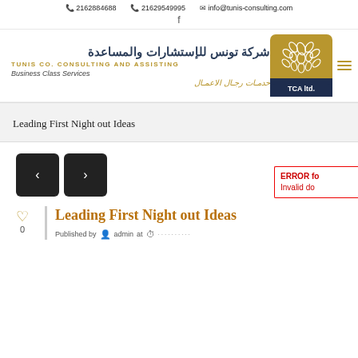2162884688   21629549995   info@tunis-consulting.com
[Figure (logo): TCA Ltd. logo with Arabic and English company name: شركة تونس للإستشارات والمساعدة / TUNIS CO. CONSULTING AND ASSISTING / Business Class Services / خدمات رجال الاعمال]
Leading First Night out Ideas
[Figure (other): Navigation left/right arrow buttons (dark rounded squares)]
Leading First Night out Ideas
Published by admin at
ERROR for site owner: Invalid do